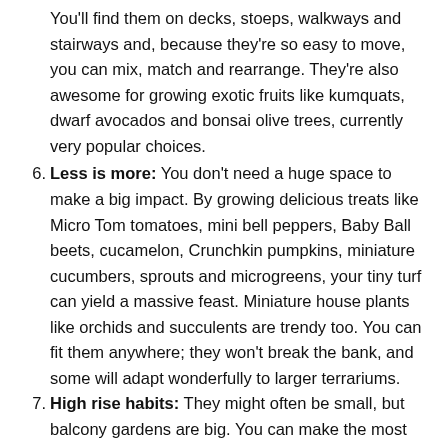You'll find them on decks, stoeps, walkways and stairways and, because they're so easy to move, you can mix, match and rearrange. They're also awesome for growing exotic fruits like kumquats, dwarf avocados and bonsai olive trees, currently very popular choices.
Less is more: You don't need a huge space to make a big impact. By growing delicious treats like Micro Tom tomatoes, mini bell peppers, Baby Ball beets, cucamelon, Crunchkin pumpkins, miniature cucumbers, sprouts and microgreens, your tiny turf can yield a massive feast. Miniature house plants like orchids and succulents are trendy too. You can fit them anywhere; they won't break the bank, and some will adapt wonderfully to larger terrariums.
High rise habits: They might often be small, but balcony gardens are big. You can make the most